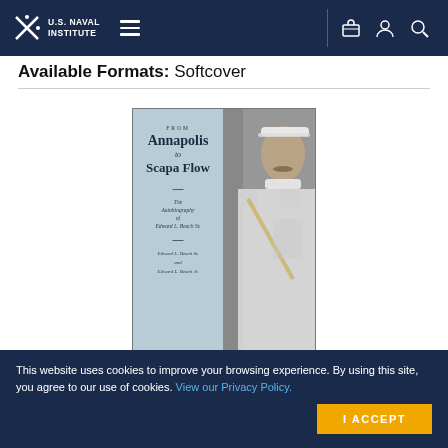U.S. Naval Institute
Available Formats: Softcover
[Figure (photo): Book cover of 'From Annapolis to Scapa Flow: The Autobiography of Edward L. Beach Sr.' by Edward L. Beach Sr. and Edward L. Beach Jr. Left half shows blue panel with title text; right half shows black-and-white photo of a naval officer in white uniform.]
This website uses cookies to improve your browsing experience. By using this site, you agree to our use of cookies. View our Privacy Policy.